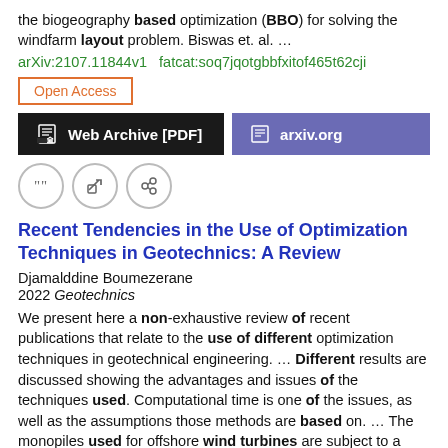the biogeography based optimization (BBO) for solving the windfarm layout problem. Biswas et. al. ...
arXiv:2107.11844v1  fatcat:soq7jqotgbbfxitof465t62cji
Open Access
Web Archive [PDF]
arxiv.org
Recent Tendencies in the Use of Optimization Techniques in Geotechnics: A Review
Djamalddine Boumezerane
2022 Geotechnics
We present here a non-exhaustive review of recent publications that relate to the use of different optimization techniques in geotechnical engineering. ... Different results are discussed showing the advantages and issues of the techniques used. Computational time is one of the issues, as well as the assumptions those methods are based on. ... The monopiles used for offshore wind turbines are subject to a multitude of parameters and their design constitutes a challenge in terms of optimization when it is